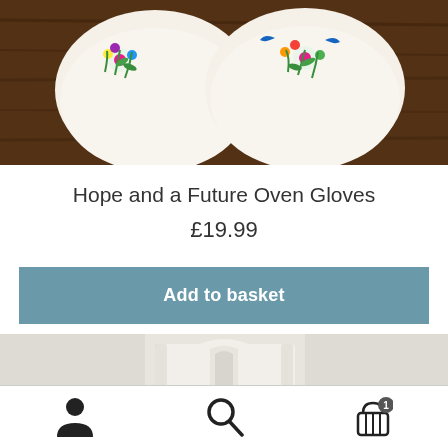[Figure (photo): Top portion of floral embroidered oven gloves resting on a dark wooden surface, showing colorful flower embroidery on white fabric]
Hope and a Future Oven Gloves
£19.99
Add to basket
[Figure (photo): Bottom portion of white oven gloves showing the plain white interior/back side with a loop handle, light grey background]